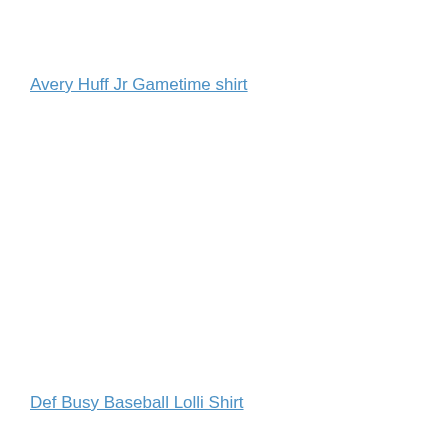Avery Huff Jr Gametime shirt
Def Busy Baseball Lolli Shirt